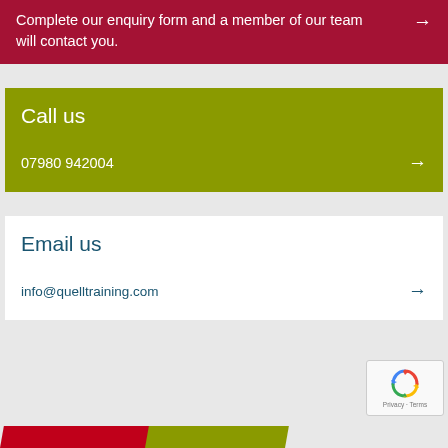Complete our enquiry form and a member of our team will contact you.
Call us
07980 942004
Email us
info@quelltraining.com
[Figure (other): reCAPTCHA badge with recycling arrows logo and Privacy - Terms text]